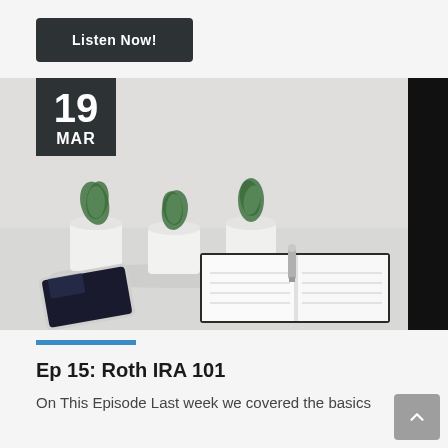Listen Now!
[Figure (photo): A flat-lay photo showing three small succulent plants in white pots, an open notebook with a pen, and a smartphone, all on a white surface. Date badge shows 19 MAR in a dark square overlay.]
Ep 15: Roth IRA 101
On This Episode Last week we covered the basics of...